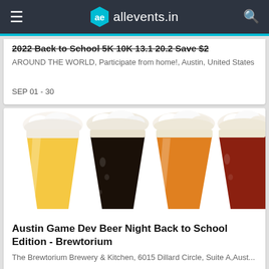allevents.in
2022 Back to School 5K 10K 13.1 20.2 Save $2
AROUND THE WORLD, Participate from home!, Austin, United States
SEP 01 - 30
[Figure (photo): Four beer glasses side by side: golden lager, dark stout, amber ale, and red ale, each with foamy heads on white background]
Austin Game Dev Beer Night Back to School Edition - Brewtorium
The Brewtorium Brewery & Kitchen, 6015 Dillard Circle, Suite A,Aust...
AUG 31